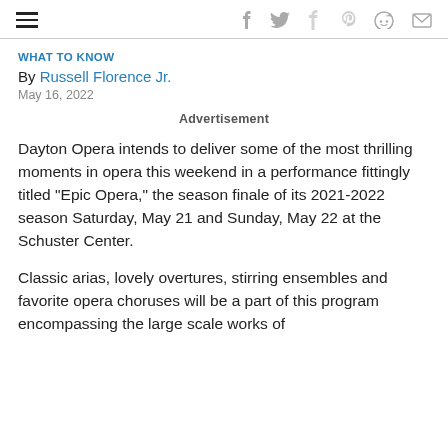WHAT TO KNOW
By Russell Florence Jr.
May 16, 2022
Advertisement
Dayton Opera intends to deliver some of the most thrilling moments in opera this weekend in a performance fittingly titled “Epic Opera,” the season finale of its 2021-2022 season Saturday, May 21 and Sunday, May 22 at the Schuster Center.
Classic arias, lovely overtures, stirring ensembles and favorite opera choruses will be a part of this program encompassing the large scale works of